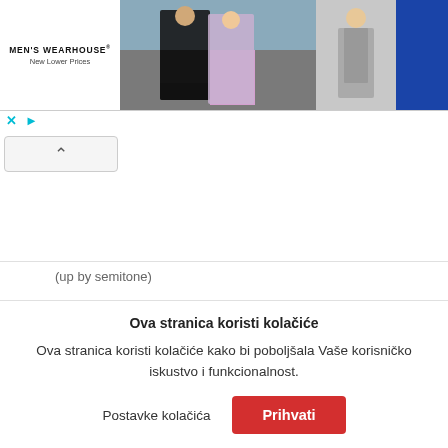[Figure (photo): Men's Wearhouse advertisement banner showing a couple dressed formally, a man in grey suit, and a blue button area. Text reads MEN'S WEARHOUSE New Lower Prices.]
(up by semitone)
Ova stranica koristi kolačiće
Ova stranica koristi kolačiće kako bi poboljšala Vaše korisničko iskustvo i funkcionalnost.
Postavke kolačića   Prihvati